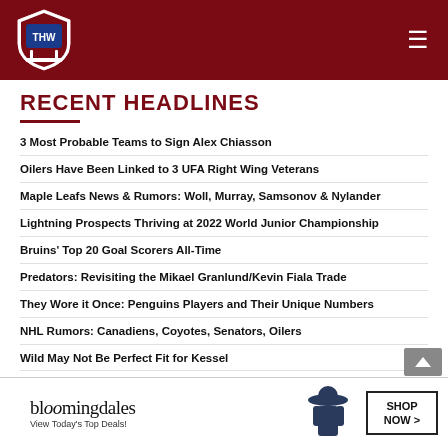THW - The Hockey Writers
RECENT HEADLINES
3 Most Probable Teams to Sign Alex Chiasson
Oilers Have Been Linked to 3 UFA Right Wing Veterans
Maple Leafs News & Rumors: Woll, Murray, Samsonov & Nylander
Lightning Prospects Thriving at 2022 World Junior Championship
Bruins' Top 20 Goal Scorers All-Time
Predators: Revisiting the Mikael Granlund/Kevin Fiala Trade
They Wore it Once: Penguins Players and Their Unique Numbers
NHL Rumors: Canadiens, Coyotes, Senators, Oilers
Wild May Not Be Perfect Fit for Kessel
3 Capitals Hot Takes for 2022-23 Season
Today in Hockey History: Aug. 17
Reviewing 3 Potential Landing Spots for Craig Smith
[Figure (screenshot): Bloomingdale's advertisement banner: 'View Today's Top Deals!' with SHOP NOW button and woman in hat photo]